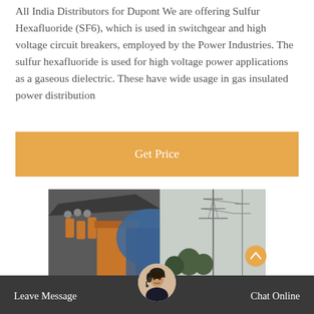All India Distributors for Dupont We are offering Sulfur Hexafluoride (SF6), which is used in switchgear and high voltage circuit breakers, employed by the Power Industries. The sulfur hexafluoride is used for high voltage power applications as a gaseous dielectric. These have wide usage in gas insulated power distribution
[Figure (other): Button styled as orange rectangle with white text 'Get Price']
[Figure (photo): Industrial photo showing electrical switchgear equipment on the left side and high voltage power transmission towers on the right side outdoors. Blue and orange equipment visible.]
[Figure (other): Bottom navigation bar with dark background showing 'Leave Message' on left, chat agent avatar in center, 'Chat Online' on right. Orange scroll-to-top button visible above bar on right.]